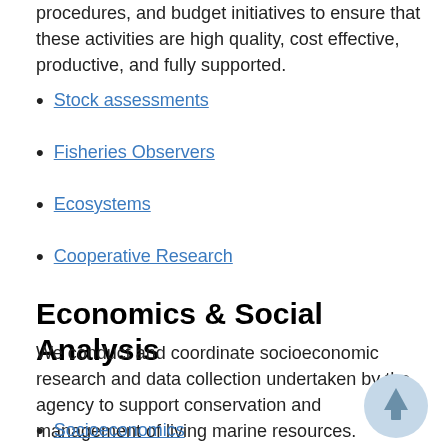procedures, and budget initiatives to ensure that these activities are high quality, cost effective, productive, and fully supported.
Stock assessments
Fisheries Observers
Ecosystems
Cooperative Research
Economics & Social Analysis
We conduct and coordinate socioeconomic research and data collection undertaken by the agency to support conservation and management of living marine resources.
Socioeconomics
Commercial fisheries